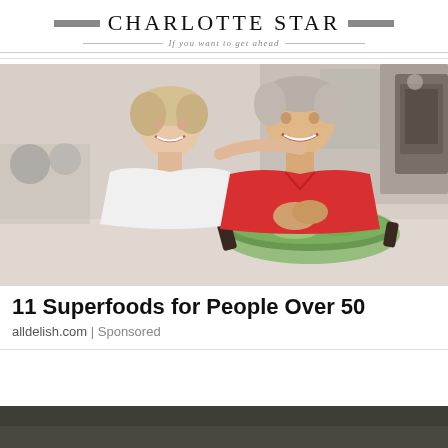Charlotte Star — If you want to get ahead
[Figure (photo): Two smiling older adults (a woman with short blond hair in a white top and a man in a red polo shirt) leaning on a kitchen counter with a bowl of salad greens in front of them.]
11 Superfoods for People Over 50
alldelish.com | Sponsored
[Figure (photo): Partial view of a dark-toned image at the bottom of the page, cropped.]